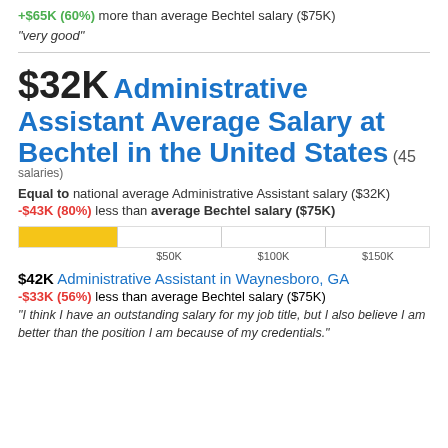+$65K (60%) more than average Bechtel salary ($75K)
"very good"
$32K Administrative Assistant Average Salary at Bechtel in the United States (45 salaries)
Equal to national average Administrative Assistant salary ($32K)
-$43K (80%) less than average Bechtel salary ($75K)
[Figure (bar-chart): Salary range bar]
$42K Administrative Assistant in Waynesboro, GA
-$33K (56%) less than average Bechtel salary ($75K)
"I think I have an outstanding salary for my job title, but I also believe I am better than the position I am because of my credentials."